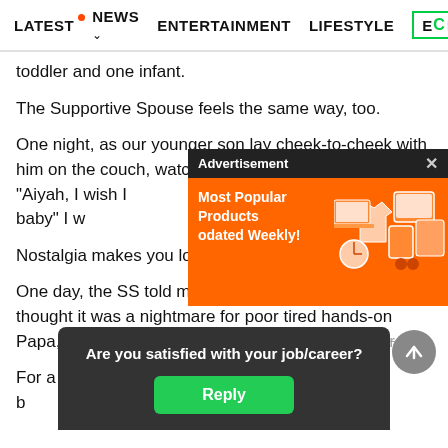LATEST · NEWS · ENTERTAINMENT · LIFESTYLE · EC>
toddler and one infant.
The Supportive Spouse feels the same way, too.
One night, as our younger son lay cheek-to-cheek with him on the couch, watching TV, Papa murmured: "Aiyah, I wish I [could have been there] when you were a baby" I w[as touched].
Nostalgia makes you lose y[our mind].
One day, the SS told me he [had a dream I was] pregnant. I thought it was a nightmare for poor tired hands-on Papa, but he told me we were very happy in the dream.
For a fe[w weeks, we debated havin]g a third b[aby — the new, best, late]st-yet
[Figure (screenshot): Advertisement overlay with orange background showing 'Most Popular Products Updated Weekly!' with product icons, and a dark header bar with 'Advertisement' label and close button]
[Figure (screenshot): Poll overlay widget with dark grey background asking 'Are you satisfied with your job/career?' with a green Reply button]